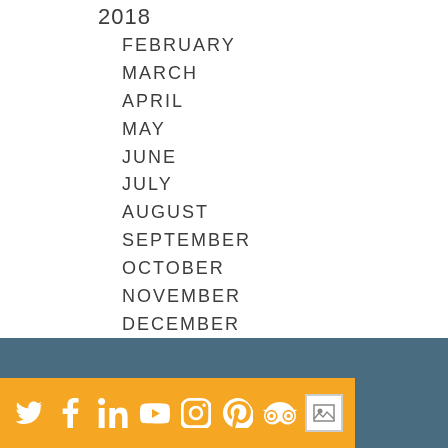2018
FEBRUARY
MARCH
APRIL
MAY
JUNE
JULY
AUGUST
SEPTEMBER
OCTOBER
NOVEMBER
DECEMBER
[Figure (infographic): Social media icons footer bar: Twitter, Facebook, LinkedIn, YouTube, Instagram, Pinterest, TripAdvisor, and one image placeholder icon on a yellow/orange background, over a dark blue-gray footer.]